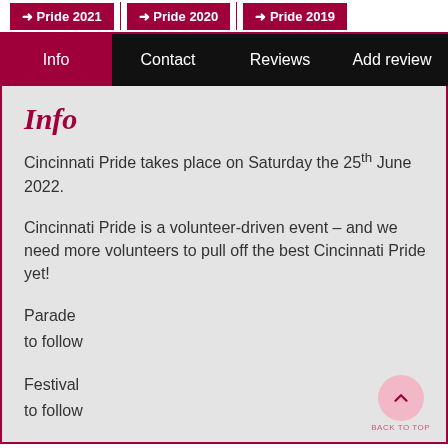➜ Pride 2021 | ➜ Pride 2020 | ➜ Pride 2019
Info | Contact | Reviews | Add review
Info
Cincinnati Pride takes place on Saturday the 25th June 2022.
Cincinnati Pride is a volunteer-driven event – and we need more volunteers to pull off the best Cincinnati Pride yet!
Parade
to follow
Festival
to follow